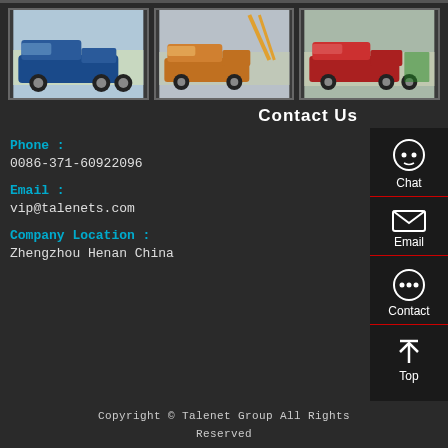[Figure (photo): Blue dump truck (SINOTRUK) parked outdoors]
[Figure (photo): Orange tractor truck with crane equipment outdoors]
[Figure (photo): Red SINOTRUK tractor truck parked in yard]
Contact Us
Phone :
0086-371-60922096
Email :
vip@talenets.com
Company Location :
Zhengzhou Henan China
Copyright © Talenet Group All Rights Reserved